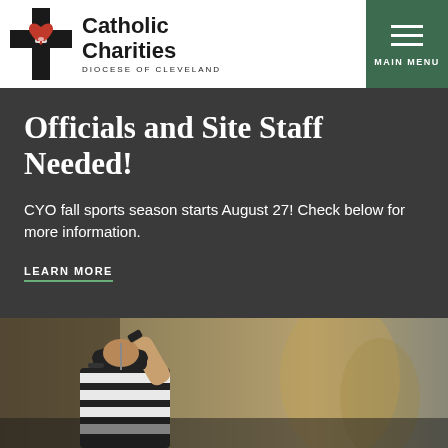[Figure (logo): Catholic Charities Diocese of Cleveland logo with cross and heart symbol]
MAIN MENU
Officials and Site Staff Needed!
CYO fall sports season starts August 27! Check below for more information.
LEARN MORE
[Figure (photo): Sports official/referee in black and white striped shirt with arm raised, wearing baseball cap, photographed from behind]